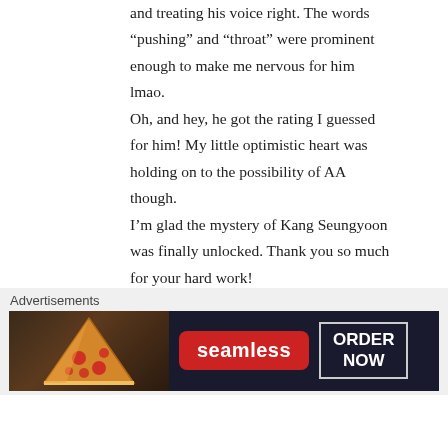and treating his voice right. The words “pushing” and “throat” were prominent enough to make me nervous for him lmao.
Oh, and hey, he got the rating I guessed for him! My little optimistic heart was holding on to the possibility of AA though.
I’m glad the mystery of Kang Seungyoon was finally unlocked. Thank you so much for your hard work!
I guess it’s Hayi > Daesung > KSY, right?
★ Liked by 2 people
↵ Reply
Advertisements
[Figure (other): Seamless food delivery advertisement banner showing pizza slices on dark background with Seamless logo and ORDER NOW button]